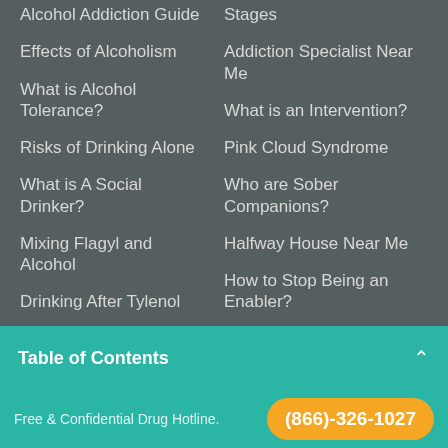Alcohol Addiction Guide
Effects of Alcoholism
What is Alcohol Tolerance?
Risks of Drinking Alone
What is A Social Drinker?
Mixing Flagyl and Alcohol
Drinking After Tylenol
Prednisone and Alcohol Interactions
Stages
Addiction Specialist Near Me
What is an Intervention?
Pink Cloud Syndrome
Who are Sober Companions?
Halfway House Near Me
How to Stop Being an Enabler?
Cognitive Behavioral Therapy
What is Milieu Therapy?
Addiction
Table of Contents
Free & Confidential Drug Hotline.
(866)-326-1027